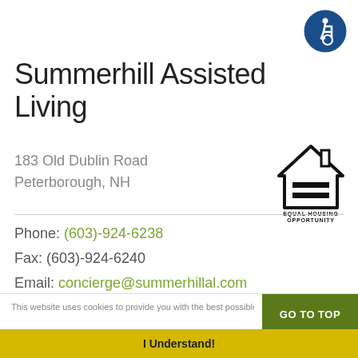[Figure (logo): Accessibility icon — blue circle with white wheelchair user symbol]
Summerhill Assisted Living
183 Old Dublin Road
Peterborough, NH
[Figure (logo): Equal Housing Opportunity logo — house outline with equals sign and text EQUAL HOUSING OPPORTUNITY]
Phone: (603)-924-6238
Fax: (603)-924-6240
Email: concierge@summerhillal.com
This website uses cookies to provide you with the best possible brow...
I Understand!
GO TO TOP